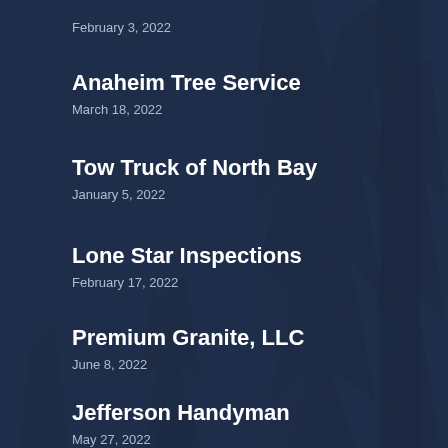February 3, 2022
Anaheim Tree Service
March 18, 2022
Tow Truck of North Bay
January 5, 2022
Lone Star Inspections
February 17, 2022
Premium Granite, LLC
June 8, 2022
Jefferson Handyman
May 27, 2022